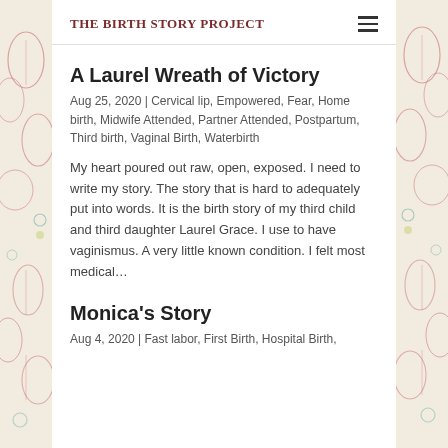THE BIRTH STORY PROJECT
A Laurel Wreath of Victory
Aug 25, 2020 | Cervical lip, Empowered, Fear, Home birth, Midwife Attended, Partner Attended, Postpartum, Third birth, Vaginal Birth, Waterbirth
My heart poured out raw, open, exposed. I need to write my story. The story that is hard to adequately put into words. It is the birth story of my third child and third daughter Laurel Grace. I use to have vaginismus. A very little known condition. I felt most medical…
Monica's Story
Aug 4, 2020 | Fast labor, First Birth, Hospital Birth,